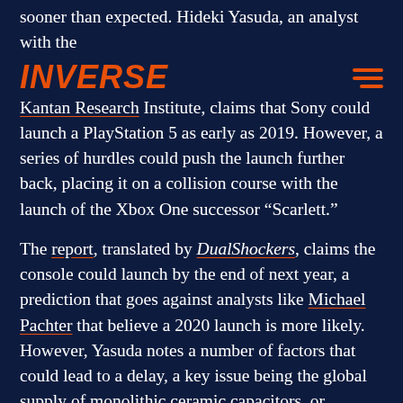sooner than expected. Hideki Yasuda, an analyst with the
INVERSE
Kantan Research Institute, claims that Sony could launch a PlayStation 5 as early as 2019. However, a series of hurdles could push the launch further back, placing it on a collision course with the launch of the Xbox One successor “Scarlett.”
The report, translated by DualShockers, claims the console could launch by the end of next year, a prediction that goes against analysts like Michael Pachter that believe a 2020 launch is more likely. However, Yasuda notes a number of factors that could lead to a delay, a key issue being the global supply of monolithic ceramic capacitors, or MLCCs. These capacitors will come under high demand as more technologically advanced cars hit the streets and 5G cellular networks encourage consumers to upgrade,